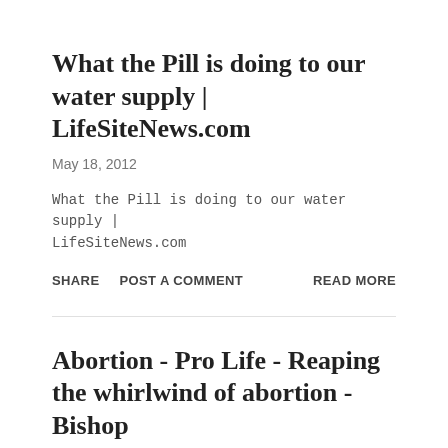What the Pill is doing to our water supply | LifeSiteNews.com
May 18, 2012
What the Pill is doing to our water supply | LifeSiteNews.com
SHARE   POST A COMMENT   READ MORE
Abortion - Pro Life - Reaping the whirlwind of abortion - Bishop